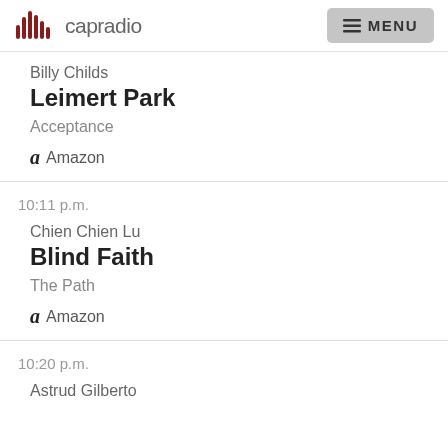capradio MENU
Billy Childs
Leimert Park
Acceptance
Amazon
10:11 p.m.
Chien Chien Lu
Blind Faith
The Path
Amazon
10:20 p.m.
Astrud Gilberto